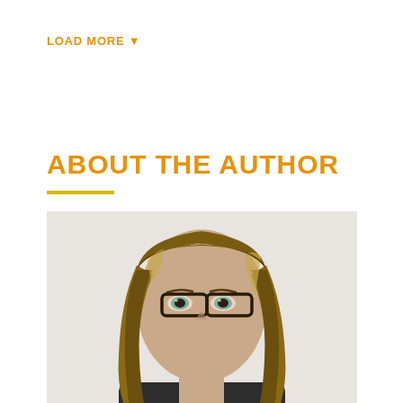LOAD MORE ▼
ABOUT THE AUTHOR
[Figure (photo): Professional headshot of a woman with straight brown hair with blonde highlights, wearing dark-framed glasses, against a light gray background.]